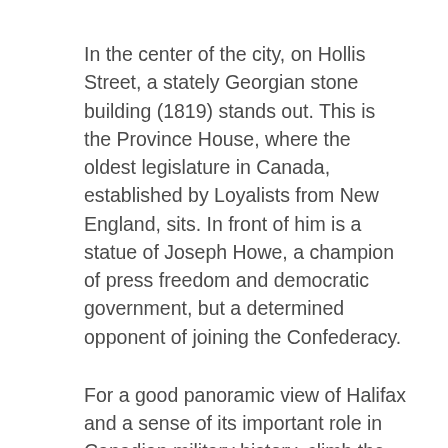In the center of the city, on Hollis Street, a stately Georgian stone building (1819) stands out. This is the Province House, where the oldest legislature in Canada, established by Loyalists from New England, sits. In front of him is a statue of Joseph Howe, a champion of press freedom and democratic government, but a determined opponent of joining the Confederacy.
For a good panoramic view of Halifax and a sense of its important role in Canadian military history, climb the grassy slope leading to the star-shaped citadel (open: daily May-June and Sept.-Oct. 9.00-17.00, Nov.-Apr. only the surroundings 9.00-17.00). Since the 1850s from this fortress every day at noon a cannon volley is fired. An excellent guided tour includes a tour of the camp, built to house 300 British soldiers. It is surrounded by a deep dry moat, powerful walls and